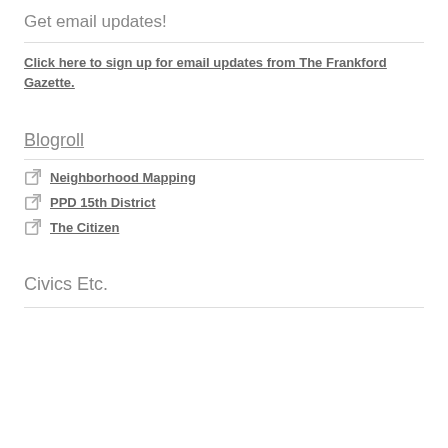Get email updates!
Click here to sign up for email updates from The Frankford Gazette.
Blogroll
Neighborhood Mapping
PPD 15th District
The Citizen
Civics Etc.